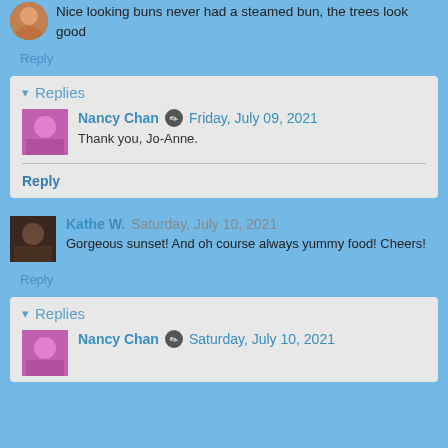Nice looking buns never had a steamed bun, the trees look good
Reply
Replies
Nancy Chan  Friday, July 09, 2021
Thank you, Jo-Anne.
Reply
Kathe W.  Saturday, July 10, 2021
Gorgeous sunset! And oh course always yummy food! Cheers!
Reply
Replies
Nancy Chan  Saturday, July 10, 2021